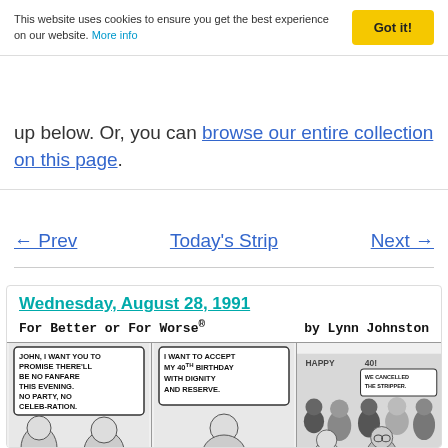This website uses cookies to ensure you get the best experience on our website. More info [Got it!]
up below. Or, you can browse our entire collection on this page.
← Prev    Today's Strip    Next →
Wednesday, August 28, 1991
For Better or For Worse®    by Lynn Johnston
[Figure (illustration): Three-panel comic strip from 'For Better or For Worse' by Lynn Johnston. Panel 1: A character says 'John, I want you to promise there'll be no fanfare this evening. No party, no celebration.' Panel 2: Another character says 'I want to accept my 40th birthday with dignity and reserve.' Panel 3: A crowd scene at a surprise party with someone saying 'We cancelled the stripper.']